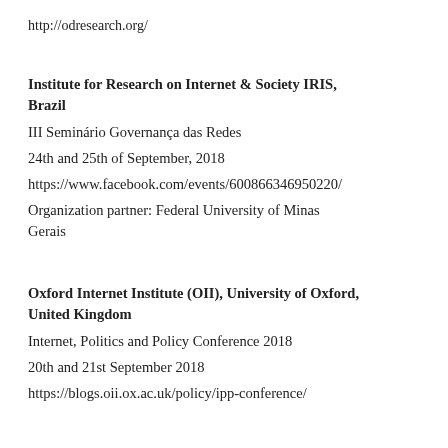http://odresearch.org/
Institute for Research on Internet & Society IRIS, Brazil
III Seminário Governança das Redes
24th and 25th of September, 2018
https://www.facebook.com/events/600866346950220/
Organization partner: Federal University of Minas Gerais
Oxford Internet Institute (OII), University of Oxford, United Kingdom
Internet, Politics and Policy Conference 2018
20th and 21st September 2018
https://blogs.oii.ox.ac.uk/policy/ipp-conference/